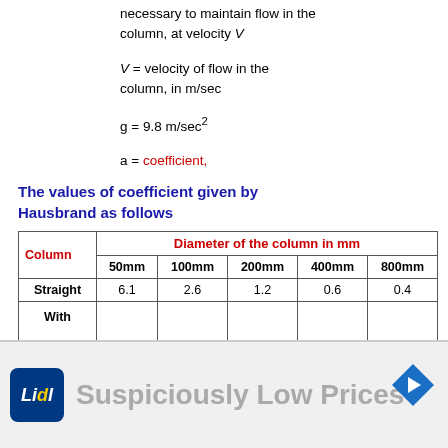necessary to maintain flow in the column, at velocity V
V = velocity of flow in the column, in m/sec
g = 9.8 m/sec²
a = coefficient,
The values of coefficient given by Hausbrand as follows
| Column | Diameter of the column in mm |  |  |  |  |
| --- | --- | --- | --- | --- | --- |
| Straight | 6.1 | 2.6 | 1.2 | 0.6 | 0.4 |
| With Double |  |  |  |  |  |